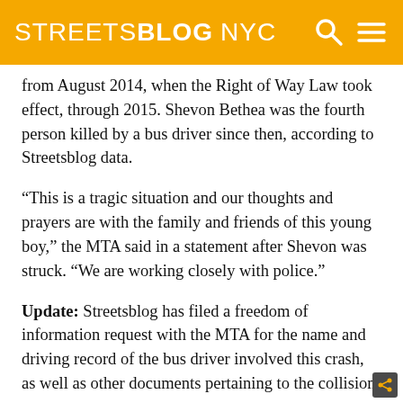STREETSBLOG NYC
from August 2014, when the Right of Way Law took effect, through 2015. Shevon Bethea was the fourth person killed by a bus driver since then, according to Streetsblog data.
“This is a tragic situation and our thoughts and prayers are with the family and friends of this young boy,” the MTA said in a statement after Shevon was struck. “We are working closely with police.”
Update: Streetsblog has filed a freedom of information request with the MTA for the name and driving record of the bus driver involved this crash, as well as other documents pertaining to the collision.